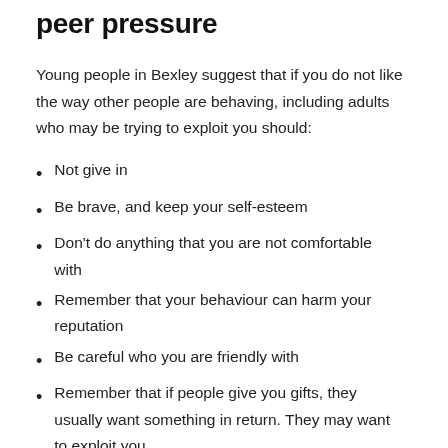peer pressure
Young people in Bexley suggest that if you do not like the way other people are behaving, including adults who may be trying to exploit you should:
Not give in
Be brave, and keep your self-esteem
Don't do anything that you are not comfortable with
Remember that your behaviour can harm your reputation
Be careful who you are friendly with
Remember that if people give you gifts, they usually want something in return. They may want to exploit you.